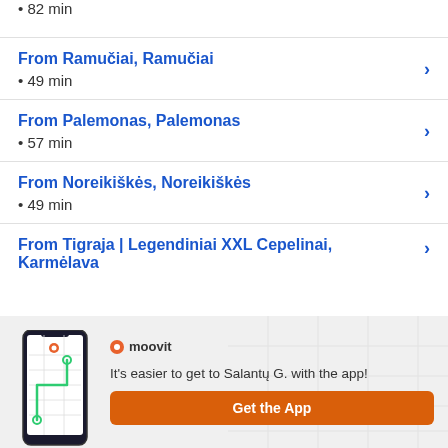• 82 min
From Ramučiai, Ramučiai
• 49 min
From Palemonas, Palemonas
• 57 min
From Noreikiškės, Noreikiškės
• 49 min
From Tigraja | Legendiniai XXL Cepelinai, Karmėlava
It's easier to get to Salantų G. with the app!
Get the App